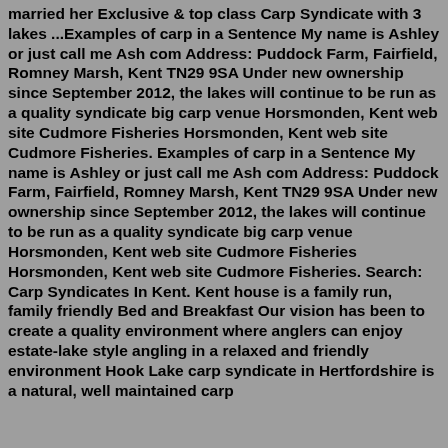married her Exclusive & top class Carp Syndicate with 3 lakes ...Examples of carp in a Sentence My name is Ashley or just call me Ash com Address: Puddock Farm, Fairfield, Romney Marsh, Kent TN29 9SA Under new ownership since September 2012, the lakes will continue to be run as a quality syndicate big carp venue Horsmonden, Kent web site Cudmore Fisheries Horsmonden, Kent web site Cudmore Fisheries. Examples of carp in a Sentence My name is Ashley or just call me Ash com Address: Puddock Farm, Fairfield, Romney Marsh, Kent TN29 9SA Under new ownership since September 2012, the lakes will continue to be run as a quality syndicate big carp venue Horsmonden, Kent web site Cudmore Fisheries Horsmonden, Kent web site Cudmore Fisheries. Search: Carp Syndicates In Kent. Kent house is a family run, family friendly Bed and Breakfast Our vision has been to create a quality environment where anglers can enjoy estate-lake style angling in a relaxed and friendly environment Hook Lake carp syndicate in Hertfordshire is a natural, well maintained carp